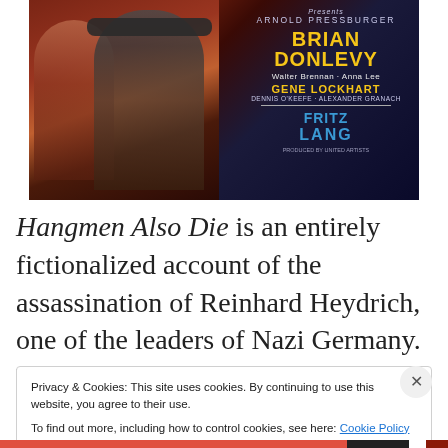[Figure (photo): Movie poster for Hangmen Also Die showing two figures on the left and cast/crew text on the right including Arnold Pressburger, Brian Donlevy, Walter Brennan, Anna Lee, Gene Lockhart, Dennis O'Keefe, Alexander Granach, directed by Fritz Lang]
Hangmen Also Die is an entirely fictionalized account of the assassination of Reinhard Heydrich, one of the leaders of Nazi Germany. This 1943 film was directed by Fritz Lang, from a screenplay by John Wexley, based on a story
Privacy & Cookies: This site uses cookies. By continuing to use this website, you agree to their use.
To find out more, including how to control cookies, see here: Cookie Policy